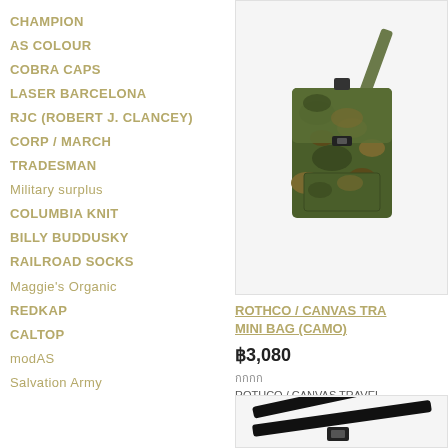CHAMPION
AS COLOUR
COBRA CAPS
LASER BARCELONA
RJC (ROBERT J. CLANCEY)
CORP / MARCH
TRADESMAN
Military surplus
COLUMBIA KNIT
BILLY BUDDUSKY
RAILROAD SOCKS
Maggie's Organic
REDKAP
CALTOP
modAS
Salvation Army
[Figure (photo): Rothco canvas travel mini bag in camouflage pattern with shoulder strap]
ROTHCO / CANVAS TRAVEL MINI BAG (CAMO)
฿3,080
กกกก
ROTHCO / CANVAS TRAVEL
[Figure (photo): Black belt or strap product partially visible]